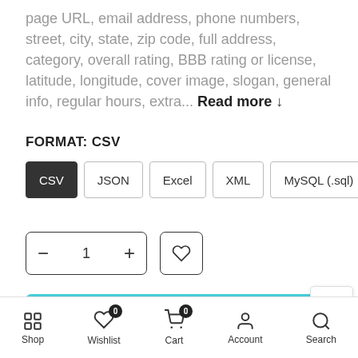page URL, email address, phone numbers, street, city, state, zip code, full address, category, overall rating, BBB rating or license, latitude, longitude, cover image, slogan, general info, regular hours, extra... Read more ↓
FORMAT: CSV
[Figure (infographic): Format selector buttons: CSV (active/dark), JSON, Excel, XML, MySQL (.sql)]
[Figure (infographic): Quantity stepper showing minus, 1, plus; and a wishlist heart button]
[Figure (infographic): ADD TO CART button (teal/cyan color)]
100% SECURE CHECKOUT
Shop  Wishlist 0  Cart 0  Account  Search